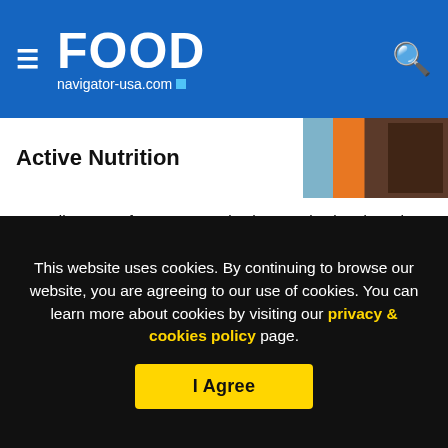FOOD navigator-usa.com
Active Nutrition
[Figure (photo): Partial image of athlete equipment with orange and blue colors visible]
According to Perfect Day, protein characterization data show that the final 'non animal' whey protein (which contains no genetically engineered fungi) is "identical to commercially available bovine-produced β-lactoglobulin," and as such presents no additional safety concerns.
The nutrition and functionality of animal
This website uses cookies. By continuing to browse our website, you are agreeing to our use of cookies. You can learn more about cookies by visiting our privacy & cookies policy page.